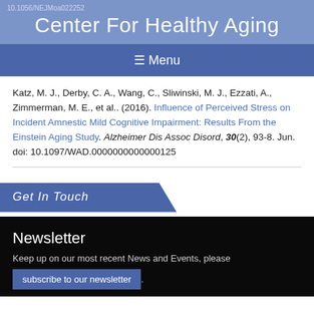10.1056/NEJMoa022252
Center For Healthy Aging
☰ Menu
Katz, M. J., Derby, C. A., Wang, C., Sliwinski, M. J., Ezzati, A., Zimmerman, M. E., et al.. (2016). Influence of Perceived Stress on Incident Amnestic Mild Cognitive Impairment: Results From the Einstein Aging Study. Alzheimer Dis Assoc Disord, 30(2), 93-8. Jun. doi: 10.1097/WAD.0000000000000125
Get In Touch
Newsletter
Keep up on our most recent News and Events, please
subscribe to our newsletter